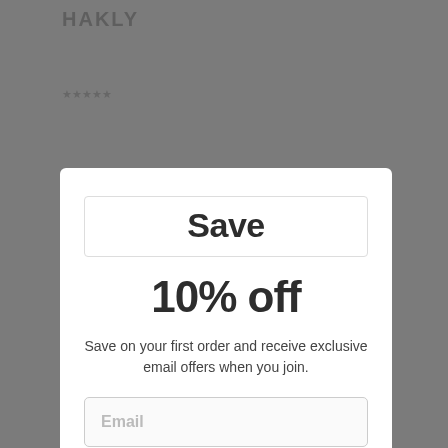[Figure (screenshot): Background website page showing partially visible product page content with large bold text fragments and bullet points, dimmed behind a modal overlay]
Save
10% off
Save on your first order and receive exclusive email offers when you join.
Email
Continue